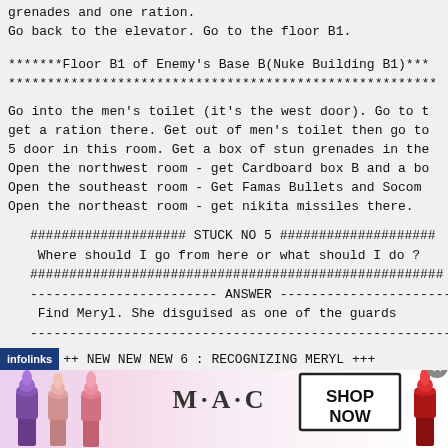grenades and one ration.
Go back to the elevator. Go to the floor B1.
*******Floor B1 of Enemy's Base B(Nuke Building B1)***
*******************************************************
Go into the men's toilet (it's the west door). Go to t
get a ration there. Get out of men's toilet then go to
5 door in this room. Get a box of stun grenades in the
Open the northwest room - get Cardboard box B and a bo
Open the southeast room - Get Famas Bullets and Socom
Open the northeast room - get nikita missiles there.
#################### STUCK NO 5 ####################
 Where should I go from here or what should I do ?
#####################################################
------------------------ ANSWER ------------------------
 Find Meryl. She disguised as one of the guards
--------------------------------------------------------
++ NEW NEW NEW 6 : RECOGNIZING MERYL +++
[Figure (photo): M·A·C cosmetics advertisement showing lipsticks and a SHOP NOW button]